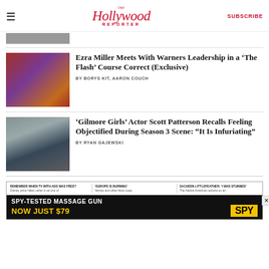The Hollywood Reporter | SUBSCRIBE
[Figure (photo): Partial article thumbnail at top, cropped]
Ezra Miller Meets With Warners Leadership in a 'The Flash' Course Correct (Exclusive)
BY BORYS KIT, AARON COUCH
[Figure (photo): Photo of two people from Gilmore Girls, sitting outdoors in winter clothing]
'Gilmore Girls' Actor Scott Patterson Recalls Feeling Objectified During Season 3 Scene: “It Is Infuriating”
BY RYAN GAJEWSKI
[Figure (infographic): Advertisement area with related article links and SPY massage gun ad banner: REMEMBER WHEN TV WITH ADS WAS FREE? / 'EUROPE IS BURNING' / SACHEEN LITTLEFEATHER: 'I WAS STUNNED' | SPY-TESTED MASSAGE GUN NOW JUST $79]